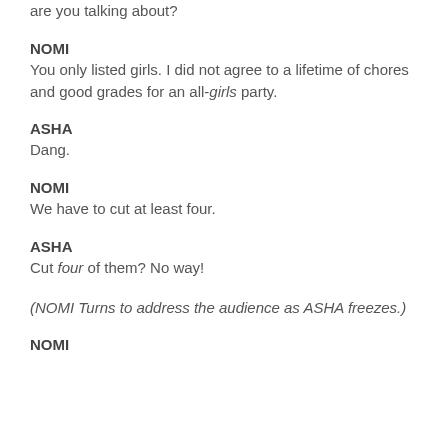are you talking about?
NOMI
You only listed girls. I did not agree to a lifetime of chores and good grades for an all-girls party.
ASHA
Dang.
NOMI
We have to cut at least four.
ASHA
Cut four of them? No way!
(NOMI Turns to address the audience as ASHA freezes.)
NOMI